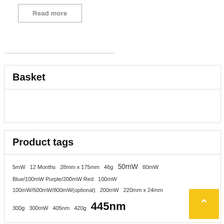Read more
Basket
Product tags
5mW 12 Months 28mm x 175mm 46g 50mW 80mW Blue/100mW Purple/200mW Red 100mW 100mW/500mW/800mW(optional) 200mW 220mm x 24mm 300g 300mW 405nm 420g 445nm